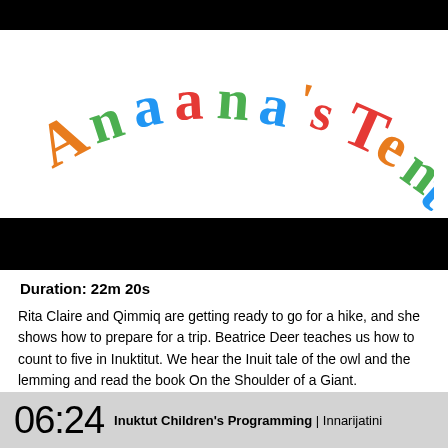[Figure (logo): Anaana's Tent colorful hand-drawn logo text arranged in an arc]
Duration: 22m 20s
Rita Claire and Qimmiq are getting ready to go for a hike, and she shows how to prepare for a trip. Beatrice Deer teaches us how to count to five in Inuktitut. We hear the Inuit tale of the owl and the lemming and read the book On the Shoulder of a Giant.
-----
06:24 Inuktut Children's Programming | Innarijatini